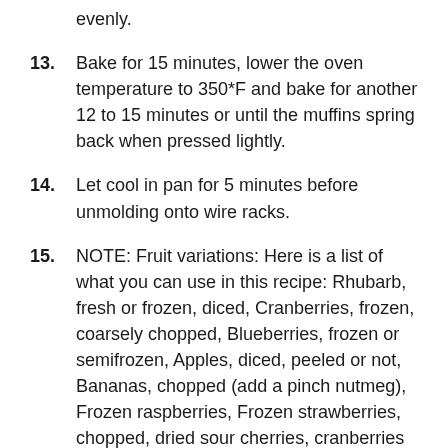evenly.
13. Bake for 15 minutes, lower the oven temperature to 350*F and bake for another 12 to 15 minutes or until the muffins spring back when pressed lightly.
14. Let cool in pan for 5 minutes before unmolding onto wire racks.
15. NOTE: Fruit variations: Here is a list of what you can use in this recipe: Rhubarb, fresh or frozen, diced, Cranberries, frozen, coarsely chopped, Blueberries, frozen or semifrozen, Apples, diced, peeled or not, Bananas, chopped (add a pinch nutmeg), Frozen raspberries, Frozen strawberries, chopped, dried sour cherries, cranberries or raisins, plumped and patted dry, Strawberry and Rhubarb combination, Apple…